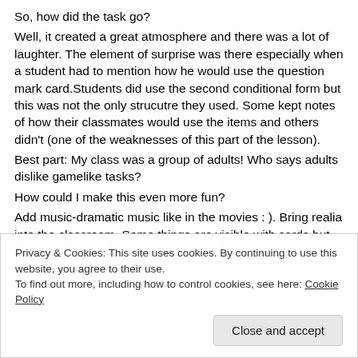So, how did the task go? Well, it created a great atmosphere and there was a lot of laughter. The element of surprise was there especially when a student had to mention how he would use the question mark card.Students did use the second conditional form but this was not the only strucutre they used. Some kept notes of how their classmates would use the items and others didn't (one of the weaknesses of this part of the lesson).
Best part: My class was a group of adults! Who says adults dislike gamelike tasks?
How could I make this even more fun?
Add music-dramatic music like in the movies : ). Bring realia into the classroom. Some things are visible with cards but with realia they
Privacy & Cookies: This site uses cookies. By continuing to use this website, you agree to their use.
To find out more, including how to control cookies, see here: Cookie Policy
Close and accept